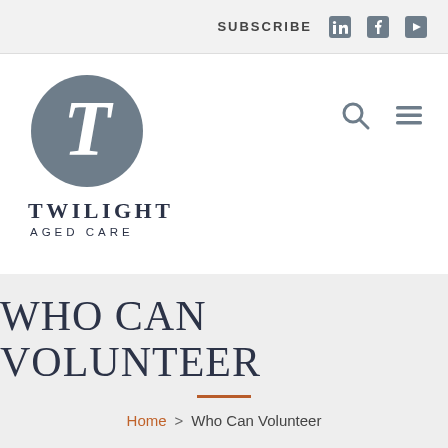SUBSCRIBE
[Figure (logo): Twilight Aged Care logo: grey circle with stylized T, text TWILIGHT AGED CARE below]
WHO CAN VOLUNTEER
Home > Who Can Volunteer